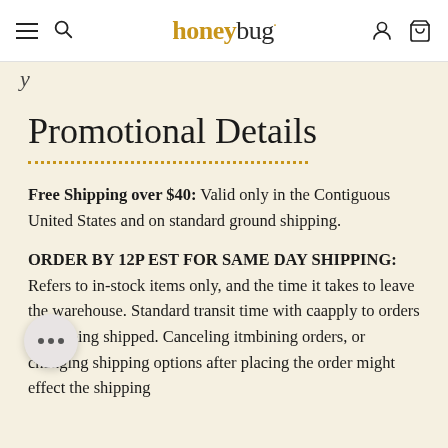honeybug
Promotional Details
Free Shipping over $40: Valid only in the Contiguous United States and on standard ground shipping.
ORDER BY 12P EST FOR SAME DAY SHIPPING: Refers to in-stock items only, and the time it takes to leave the warehouse. Standard transit time with ca... apply to orders after being shipped. Canceling it... mbining orders, or changing shipping options after placing the order might effect the shipping ...